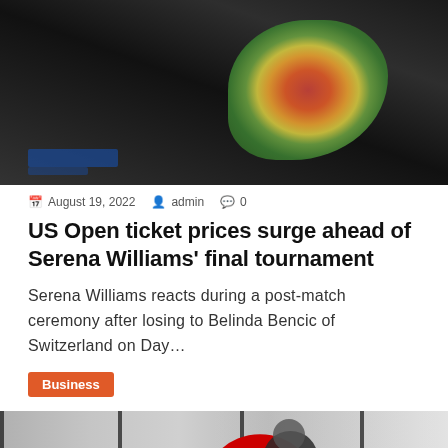[Figure (photo): Serena Williams holding flowers during a post-match ceremony at a tennis court]
August 19, 2022  admin  0
US Open ticket prices surge ahead of Serena Williams' final tournament
Serena Williams reacts during a post-match ceremony after losing to Belinda Bencic of Switzerland on Day…
Business
[Figure (photo): Target store exterior with large red Target bullseye logo, a man walking by, and an advertisement overlay reading 'Discover New Jersey's Most Amazing Places to Explo...' sponsored by New Jersey Division of Trav.]